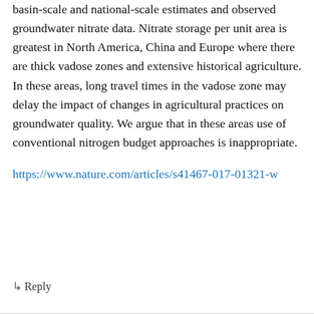basin-scale and national-scale estimates and observed groundwater nitrate data. Nitrate storage per unit area is greatest in North America, China and Europe where there are thick vadose zones and extensive historical agriculture. In these areas, long travel times in the vadose zone may delay the impact of changes in agricultural practices on groundwater quality. We argue that in these areas use of conventional nitrogen budget approaches is inappropriate.
https://www.nature.com/articles/s41467-017-01321-w
↳ Reply